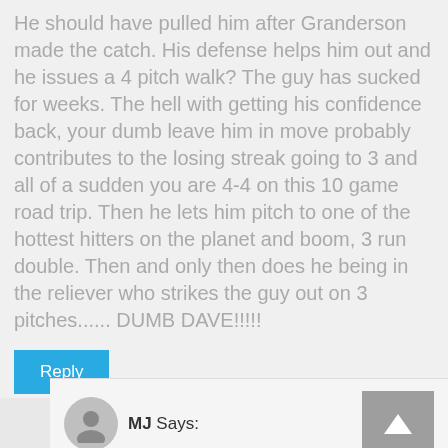He should have pulled him after Granderson made the catch. His defense helps him out and he issues a 4 pitch walk? The guy has sucked for weeks. The hell with getting his confidence back, your dumb leave him in move probably contributes to the losing streak going to 3 and all of a sudden you are 4-4 on this 10 game road trip. Then he lets him pitch to one of the hottest hitters on the planet and boom, 3 run double. Then and only then does he being in the reliever who strikes the guy out on 3 pitches...... DUMB DAVE!!!!!
Reply
MJ Says:
SEPTEMBER 19, 2017 AT 8:22 PM